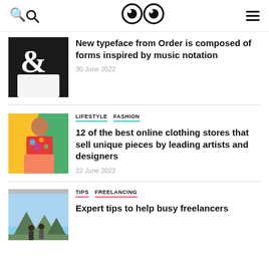Search | Logo (eyes) | Menu
New typeface from Order is composed of forms inspired by music notation
30 June 2022
LIFESTYLE  FASHION
12 of the best online clothing stores that sell unique pieces by leading artists and designers
22 June 2022
TIPS  FREELANCING
Expert tips to help busy freelancers